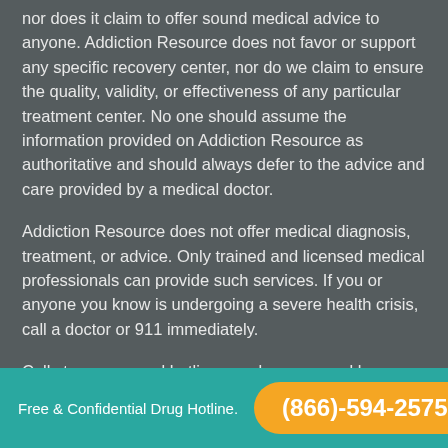nor does it claim to offer sound medical advice to anyone. Addiction Resource does not favor or support any specific recovery center, nor do we claim to ensure the quality, validity, or effectiveness of any particular treatment center. No one should assume the information provided on Addiction Resource as authoritative and should always defer to the advice and care provided by a medical doctor.
Addiction Resource does not offer medical diagnosis, treatment, or advice. Only trained and licensed medical professionals can provide such services. If you or anyone you know is undergoing a severe health crisis, call a doctor or 911 immediately.
Calls to our general hotline may be answered by private treatment providers. We may be paid a fee for marketing or advertising by organizations that can assist with treating people with substance use disorders.
Free & Confidential Drug Hotline. (866)-594-2575